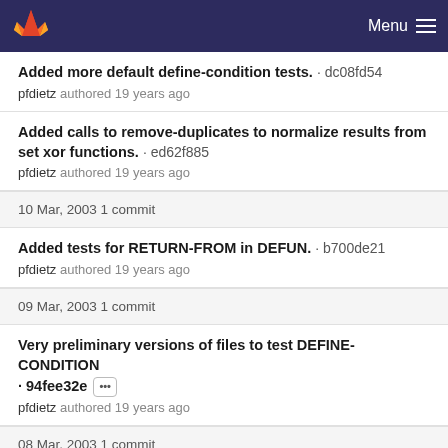Menu
Added more default define-condition tests. · dc08fd54
pfdietz authored 19 years ago
Added calls to remove-duplicates to normalize results from set xor functions. · ed62f885
pfdietz authored 19 years ago
10 Mar, 2003 1 commit
Added tests for RETURN-FROM in DEFUN. · b700de21
pfdietz authored 19 years ago
09 Mar, 2003 1 commit
Very preliminary versions of files to test DEFINE-CONDITION · 94fee32e
pfdietz authored 19 years ago
08 Mar, 2003 1 commit